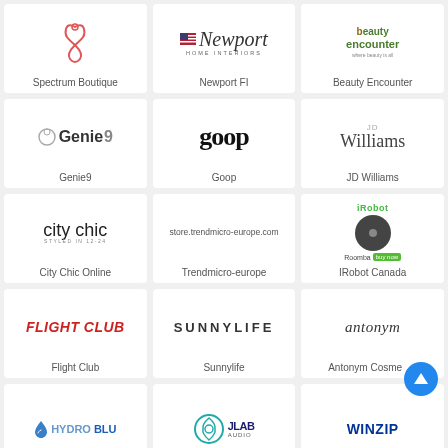[Figure (logo): Spectrum Boutique logo - red stethoscope/infinity symbol]
Spectrum Boutique
[Figure (logo): Newport FI logo - cursive Newport text with HOME INTERIORS below and US flag]
Newport FI
[Figure (logo): Beauty Encounter logo - text logo in green and brown]
Beauty Encounter
[Figure (logo): Genie9 logo - gear icon with Genie9 text]
Genie9
[Figure (logo): Goop logo - bold serif lowercase text]
Goop
[Figure (logo): JD Williams logo - JD above Williams in serif font]
JD Williams
[Figure (logo): City Chic logo - lowercase city chic with STYLED IN 12-24 below]
City Chic Online
[Figure (logo): Trendmicro-europe logo - store.trendmicro-europe.com text]
Trendmicro-europe
[Figure (logo): iRobot Canada logo - iRobot branding with Roomba robot image]
IRobot Canada
[Figure (logo): Flight Club logo - red bold italic caps text]
Flight Club
[Figure (logo): Sunnylife logo - spaced caps SUNNYLIFE]
Sunnylife
[Figure (logo): Antonym Cosmetics logo - italic serif antonym text]
Antonym Cosmetics
[Figure (logo): HydroBlu logo - water drop icon with HYDROBLU text in blue]
[Figure (logo): JLab Audio logo - circular icon with JLab Audio text]
[Figure (logo): WinZip logo - bold blue uppercase WINZIP text]